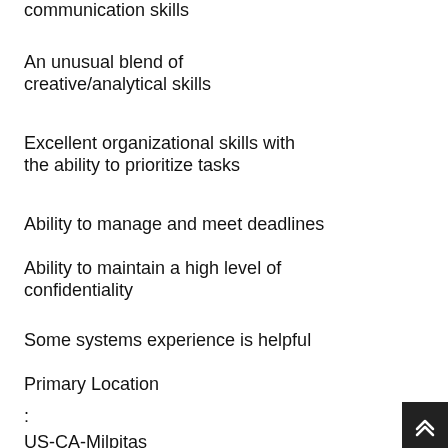communication skills
An unusual blend of creative/analytical skills
Excellent organizational skills with the ability to prioritize tasks
Ability to manage and meet deadlines
Ability to maintain a high level of confidentiality
Some systems experience is helpful
Primary Location
:
US-CA-Milpitas